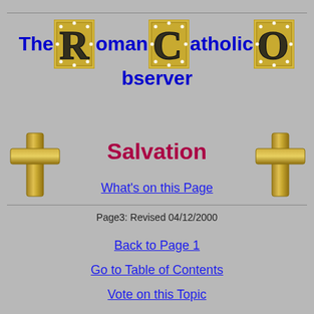The Roman Catholic Observer
Salvation
What's on this Page
Page3: Revised 04/12/2000
Back to Page 1
Go to Table of Contents
Vote on this Topic